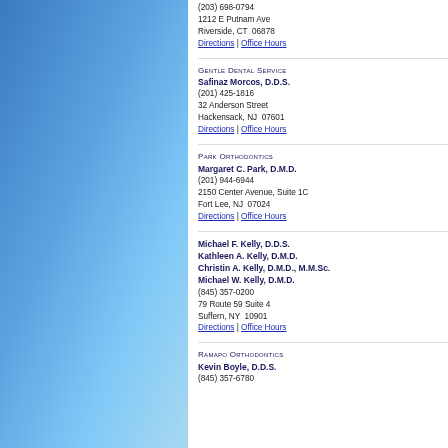[Figure (illustration): Blue gradient decorative sidebar panel on the left side of the page]
(203) 698-0794
1212 E Putnam Ave
Riverside, CT 06878
Directions | Office Hours
Gentle Dental Service
Safinaz Morcos, D.D.S.
(201) 425-1816
32 Anderson Street
Hackensack, NJ 07601
Directions | Office Hours
Park Orthodontics
Margaret C. Park, D.M.D.
(201) 944-6944
2150 Center Avenue, Suite 1C
Fort Lee, NJ 07024
Directions | Office Hours
Michael F. Kelly, D.D.S.
Kathleen A. Kelly, D.M.D.
Christin A. Kelly, D.M.D., M.M.Sc.
Michael W. Kelly, D.M.D.
(845) 357-0200
79 Route 59 Suite 4
Suffern, NY 10901
Directions | Office Hours
Ramapo Orthodontics
Kevin Boyle, D.D.S.
(845) 357-6780